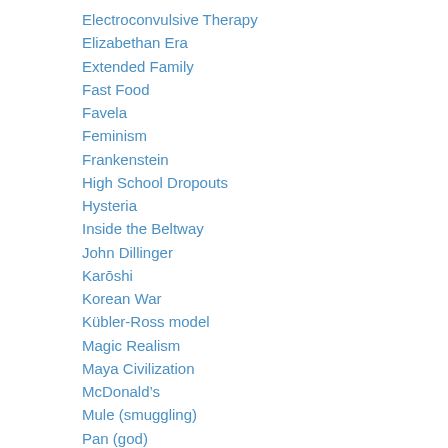Electroconvulsive Therapy
Elizabethan Era
Extended Family
Fast Food
Favela
Feminism
Frankenstein
High School Dropouts
Hysteria
Inside the Beltway
John Dillinger
Karōshi
Korean War
Kübler-Ross model
Magic Realism
Maya Civilization
McDonald's
Mule (smuggling)
Pan (god)
Relationship Counseling